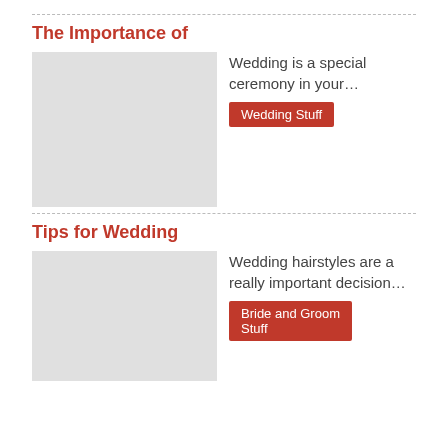The Importance of
[Figure (photo): Placeholder image for wedding article]
Wedding is a special ceremony in your…
Wedding Stuff
Tips for Wedding
[Figure (photo): Placeholder image for wedding hairstyles article]
Wedding hairstyles are a really important decision…
Bride and Groom Stuff